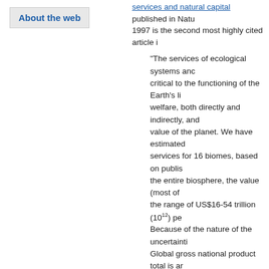About the web
services and natural capital published in Nature 1997 is the second most highly cited article in
"The services of ecological systems and natural capital are critical to the functioning of the Earth's life-support systems, human welfare, both directly and indirectly, and we estimate the total value of the planet. We have estimated the value of 17 ecosystem services for 16 biomes, based on published studies. For the entire biosphere, the value (most of it outside the market) is in the range of US$16-54 trillion (10^12) per year. Because of the nature of the uncertainties involved, the Global gross national product total is around US$18 trillion/yr."
Dr. Costanza is the Gordon and Lulie Gund Professor at the Gund Institute for Ecological Economics at the president of the International Society for Ecological Economics journal, Ecological Economics, 1989 - 2002. He has published in international academic journals. He holds various degrees in sciences from Stockholm University.
The Gund Institute is a transdisciplinary research institute using social science to address environmental research questions from small watersheds to global systems.
Dr. Costanza contributes to an Icelandic research estimated for the first time. Besides, he is the school. Breaking down the barriers held at the